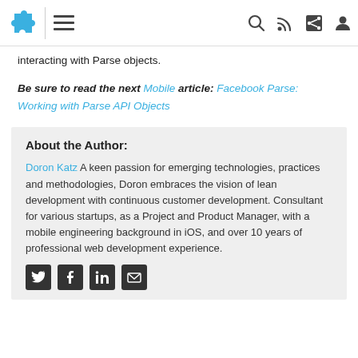[Navigation bar with logo, hamburger menu, search, RSS, share, and user icons]
interacting with Parse objects.
Be sure to read the next Mobile article: Facebook Parse: Working with Parse API Objects
About the Author:
Doron Katz A keen passion for emerging technologies, practices and methodologies, Doron embraces the vision of lean development with continuous customer development. Consultant for various startups, as a Project and Product Manager, with a mobile engineering background in iOS, and over 10 years of professional web development experience.